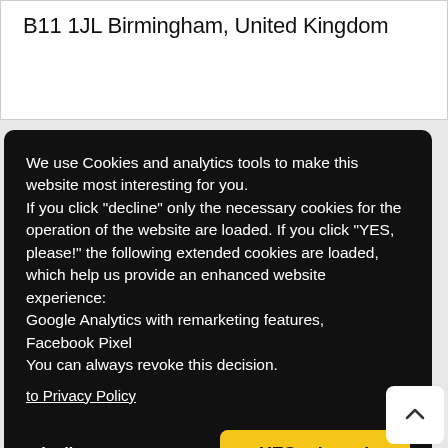B11 1JL Birmingham, United Kingdom
We use Cookies and analytics tools to make this website most interesting for you.
If you click "decline" only the necessary cookies for the operation of the website are loaded. If you click "YES, please!" the following extended cookies are loaded, which help us provide an enhanced website experience:
Google Analytics with remarketing features,
Facebook Pixel
You can always revoke this decision.
to Privacy Policy
decline
YES, please!